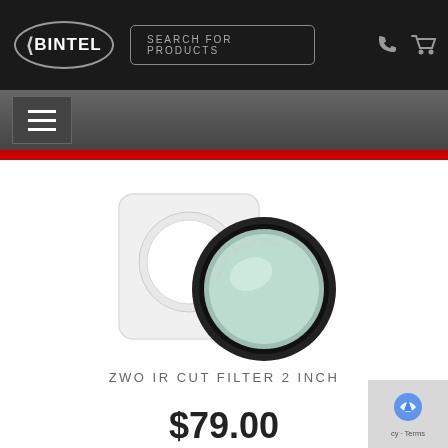BINTEL — SEARCH FOR PRODUCTS
[Figure (photo): ZWO IR Cut Filter 2 inch product photo showing circular optical filter in black ring casing leaning against a white plastic square storage case]
ZWO IR CUT FILTER 2 INCH
$79.00